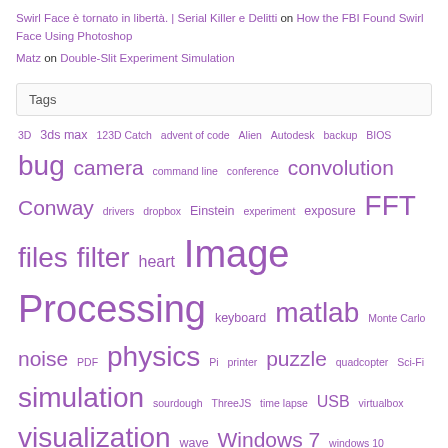Swirl Face è tornato in libertà. | Serial Killer e Delitti on How the FBI Found Swirl Face Using Photoshop
Matz on Double-Slit Experiment Simulation
Tags
3D 3ds max 123D Catch advent of code Alien Autodesk backup BIOS bug camera command line conference convolution Conway drivers dropbox Einstein experiment exposure FFT files filter heart Image Processing keyboard matlab Monte Carlo noise PDF physics Pi printer puzzle quadcopter Sci-Fi simulation sourdough ThreeJS time lapse USB virtualbox visualization wave Windows 7 windows 10